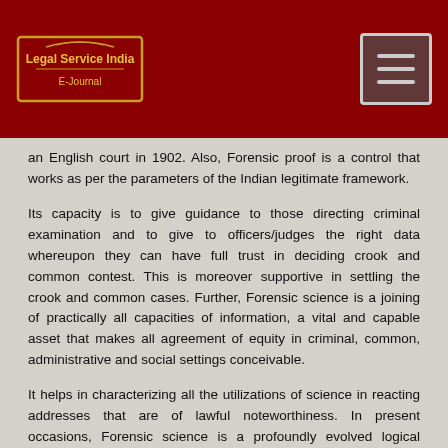[Figure (logo): Legal Service India E-Journal logo with decorative gold text on dark red background]
an English court in 1902. Also, Forensic proof is a control that works as per the parameters of the Indian legitimate framework.
Its capacity is to give guidance to those directing criminal examination and to give to officers/judges the right data whereupon they can have full trust in deciding crook and common contest. This is moreover supportive in settling the crook and common cases. Further, Forensic science is a joining of practically all capacities of information, a vital and capable asset that makes all agreement of equity in criminal, common, administrative and social settings conceivable.
It helps in characterizing all the utilizations of science in reacting addresses that are of lawful noteworthiness. In present occasions, Forensic science is a profoundly evolved logical technique that is utilized in criminal and common examinations, it is fit for responding to significant inquiries